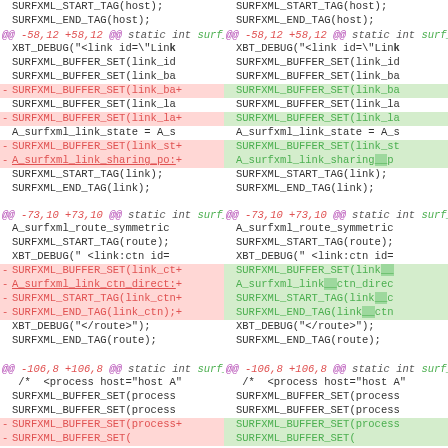[Figure (screenshot): Code diff view showing two columns (old and new) of C source code with diff markers. Three hunks shown: @@ -58,12 +58,12, @@ -73,10 +73,10, and @@ -106,8 +106,8, with removed lines in red and added lines in green. Functions surf_parse_bypass_platform and surf_parse_bypass_application are shown.]